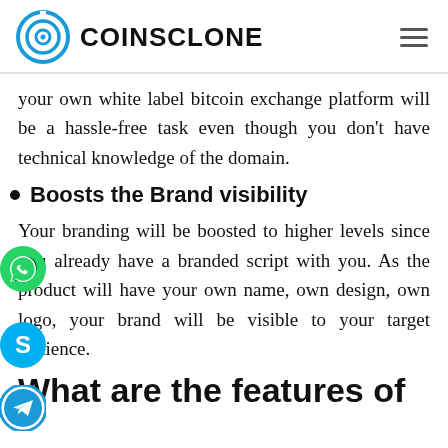COINSCLONE
your own white label bitcoin exchange platform will be a hassle-free task even though you don't have technical knowledge of the domain.
Boosts the Brand visibility
Your branding will be boosted to higher levels since you already have a branded script with you. As the product will have your own name, own design, own logo, your brand will be visible to your target audience.
What are the features of